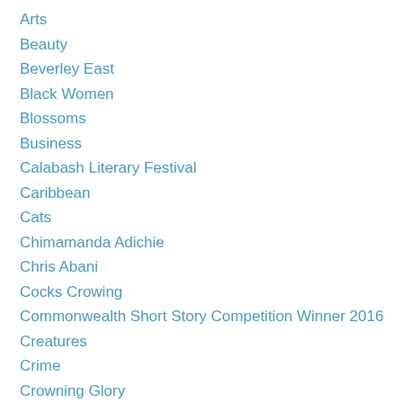Arts
Beauty
Beverley East
Black Women
Blossoms
Business
Calabash Literary Festival
Caribbean
Cats
Chimamanda Adichie
Chris Abani
Cocks Crowing
Commonwealth Short Story Competition Winner 2016
Creatures
Crime
Crowning Glory
Cuts
Darker Times Publishing
Debbie Flint
Debut Novel
Dub Poets